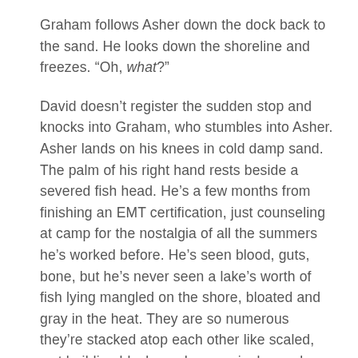Graham follows Asher down the dock back to the sand. He looks down the shoreline and freezes. “Oh, what?”
David doesn’t register the sudden stop and knocks into Graham, who stumbles into Asher. Asher lands on his knees in cold damp sand. The palm of his right hand rests beside a severed fish head. He’s a few months from finishing an EMT certification, just counseling at camp for the nostalgia of all the summers he’s worked before. He’s seen blood, guts, bone, but he’s never seen a lake’s worth of fish lying mangled on the shore, bloated and gray in the heat. They are so numerous they’re stacked atop each other like scaled, wet building blocks and every single one has been separated